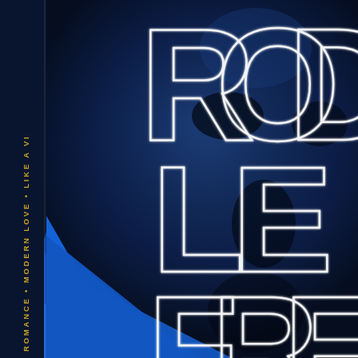[Figure (illustration): Book or album cover design with a deep blue color scheme. A close-up face (partially visible) is shown in dark navy blue tones. Large outlined/neon-style white letters spell out 'ROD' at the top and 'LE' in the middle and 'FRE' partially visible at the bottom. A vertical text strip on the left side reads 'ROMANCE • MODERN LOVE • LIKE A VI' in gold/yellow lettering on a dark navy background. A bright blue triangular/angular shape overlaps the left-center area.]